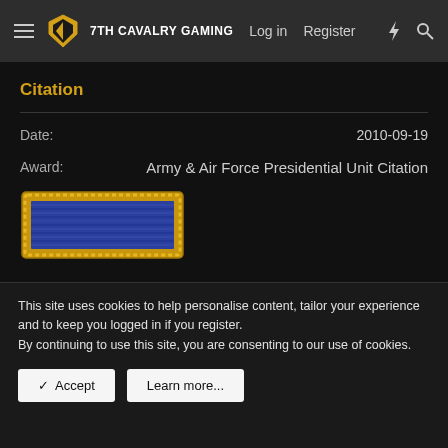7TH CAVALRY GAMING  Log in  Register
Citation
Date: 2010-09-19
Award: Army & Air Force Presidential Unit Citation
[Figure (illustration): Army & Air Force Presidential Unit Citation ribbon — a blue rectangular ribbon with horizontal striping framed in a gold braided border]
This site uses cookies to help personalise content, tailor your experience and to keep you logged in if you register.
By continuing to use this site, you are consenting to our use of cookies.
Accept  Learn more...